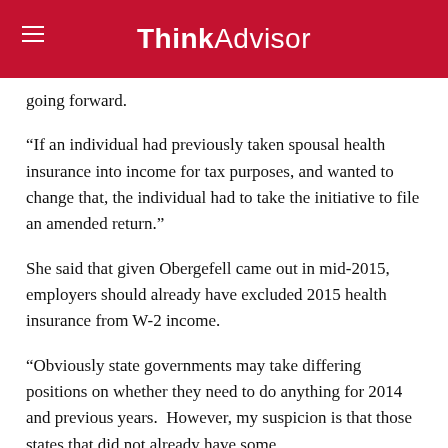ThinkAdvisor
going forward.
“If an individual had previously taken spousal health insurance into income for tax purposes, and wanted to change that, the individual had to take the initiative to file an amended return.”
She said that given Obergefell came out in mid-2015, employers should already have excluded 2015 health insurance from W-2 income.
“Obviously state governments may take differing positions on whether they need to do anything for 2014 and previous years.  However, my suspicion is that those states that did not already have some